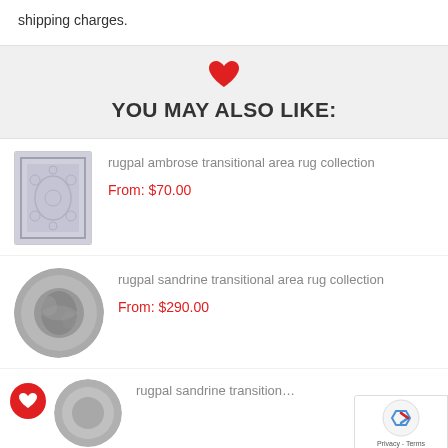shipping charges.
[Figure (illustration): Red heart icon]
YOU MAY ALSO LIKE:
[Figure (photo): Rugpal Ambrose transitional area rug - rectangular, grey/blue floral pattern]
rugpal ambrose transitional area rug collection
From: $70.00
[Figure (photo): Rugpal Sandrine transitional area rug - circular, grey distressed pattern]
rugpal sandrine transitional area rug collection
From: $290.00
[Figure (photo): Rugpal Sandrine transitional area rug collection - small circular thumbnail (partial)]
rugpal sandrine transitional area rug collecti...